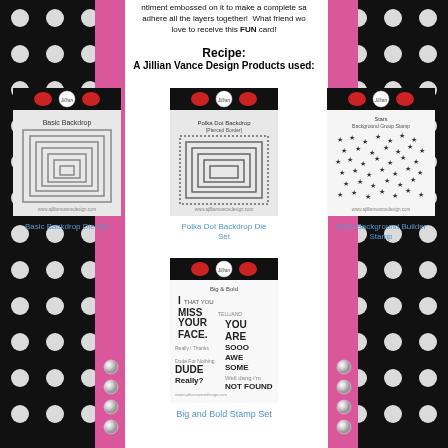ntiment embossed on it to make a complete sa... adhere all the layers together!  What friend wo... love to receive this FUN card!
Recipe:
A Jillian Vance Design Products used:
[Figure (photo): Product image: Basic Backdrop Die Set - nested rectangles die cuts on grey background with polka dot header]
Basic Backdrop Die Set
[Figure (photo): Product image: Polka Dot Backdrop Die Set - nested rectangles with polka dot border on dark polka dot header]
Polka Dot Backdrop Die Set
[Figure (photo): Product image: Stars Background Builder Stamp - stamp sheet with scattered stars pattern]
Stars Background Builder Stamp
[Figure (photo): Product image: Big and Bold Stamp Set - stamp sheet with various bold sentiments including I MISS YOUR FACE, YOU ARE SOOO AWESOME, DUDE, Really?]
Big and Bold Stamp Set